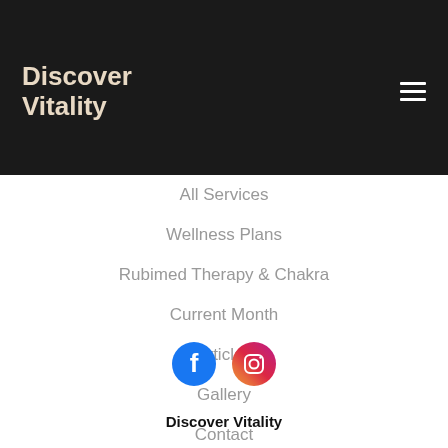Discover Vitality
All Services
Wellness Plans
Rubimed Therapy & Chakra
Current Month
Articles
Gallery
Contact
Privacy Policy
[Figure (infographic): Facebook and Instagram social media icons]
Discover Vitality